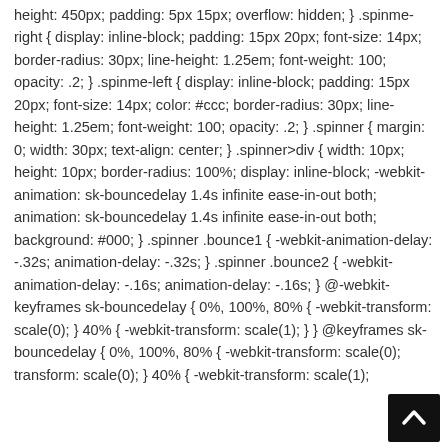height: 450px; padding: 5px 15px; overflow: hidden; } .spinme-right { display: inline-block; padding: 15px 20px; font-size: 14px; border-radius: 30px; line-height: 1.25em; font-weight: 100; opacity: .2; } .spinme-left { display: inline-block; padding: 15px 20px; font-size: 14px; color: #ccc; border-radius: 30px; line-height: 1.25em; font-weight: 100; opacity: .2; } .spinner { margin: 0; width: 30px; text-align: center; } .spinner>div { width: 10px; height: 10px; border-radius: 100%; display: inline-block; -webkit-animation: sk-bouncedelay 1.4s infinite ease-in-out both; animation: sk-bouncedelay 1.4s infinite ease-in-out both; background: #000; } .spinner .bounce1 { -webkit-animation-delay: -.32s; animation-delay: -.32s; } .spinner .bounce2 { -webkit-animation-delay: -.16s; animation-delay: -.16s; } @-webkit-keyframes sk-bouncedelay { 0%, 100%, 80% { -webkit-transform: scale(0); } 40% { -webkit-transform: scale(1); } } @keyframes sk-bouncedelay { 0%, 100%, 80% { -webkit-transform: scale(0); transform: scale(0); } 40% { -webkit-transform: scale(1);
[Figure (other): Dark black square button with white upward-pointing chevron/arrow in bottom-right corner of page]